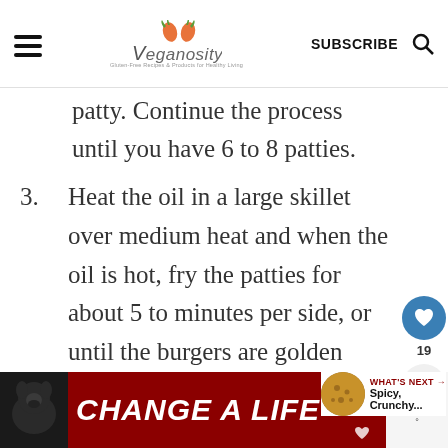Veganosity — SUBSCRIBE
patty. Continue the process until you have 6 to 8 patties.
3. Heat the oil in a large skillet over medium heat and when the oil is hot, fry the patties for about 5 to minutes per side, or until the burgers are golden brown crispy on the outside.
[Figure (infographic): Bottom advertisement banner reading CHANGE A LIFE with a dog image on a dark red background]
WHAT'S NEXT → Spicy, Crunchy...